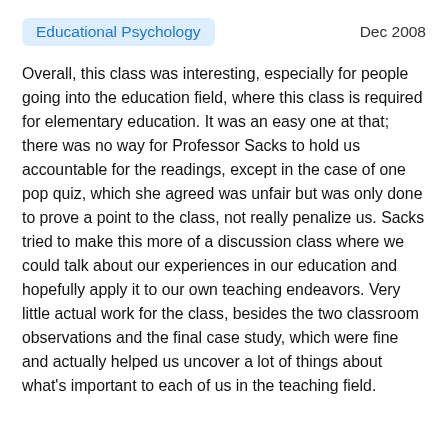Educational Psychology   Dec 2008
Overall, this class was interesting, especially for people going into the education field, where this class is required for elementary education. It was an easy one at that; there was no way for Professor Sacks to hold us accountable for the readings, except in the case of one pop quiz, which she agreed was unfair but was only done to prove a point to the class, not really penalize us. Sacks tried to make this more of a discussion class where we could talk about our experiences in our education and hopefully apply it to our own teaching endeavors. Very little actual work for the class, besides the two classroom observations and the final case study, which were fine and actually helped us uncover a lot of things about what's important to each of us in the teaching field.